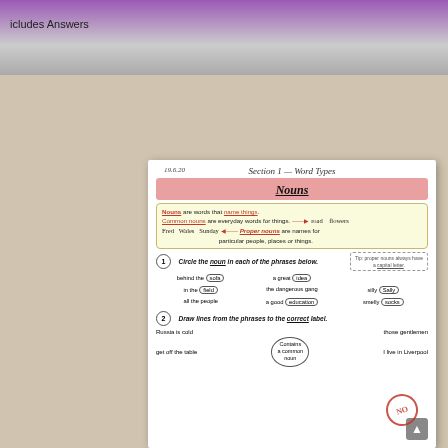Includes Answers
Section 1 — Word Types
Nouns
Nouns are words that name things. Common nouns are everyday words for things. → road flowers. Fred Wales Sunday ← Proper nouns are names for particular people, places or things.
1 Circle the noun in each of the phrases below. behind the sofa, a great idea, in the field, the dangerous gang, silly Sally, all the people, a good education, smelly socks
2 Draw lines from the phrases to the correct label. Russia is cold, get off the table, those gentlemen, I live in Liverpool — Contains a common noun